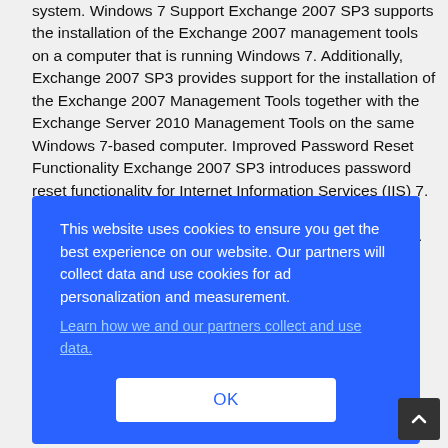system. Windows 7 Support Exchange 2007 SP3 supports the installation of the Exchange 2007 management tools on a computer that is running Windows 7. Additionally, Exchange 2007 SP3 provides support for the installation of the Exchange 2007 Management Tools together with the Exchange Server 2010 Management Tools on the same Windows 7-based computer. Improved Password Reset Functionality Exchange 2007 SP3 introduces password reset functionality for Internet Information Services (IIS) 7. Updated Search Functionality Exchange 2007 SP3 includes updates to the Exchange Search (MS Search)... Support for Right-to-left Disclaimer ...e-mail ...? ...d ...as ...lity,
[Figure (other): Cookie consent overlay dialog on a blue background. Contains text: 'This website uses cookies to ensure you get the best experience on our website. Our partners will collect data and use cookies for ad personalization and measurement.' with a link 'Learn how we and our partners collect and use data.' and an OK button.]
Enhanced reporting with public folders